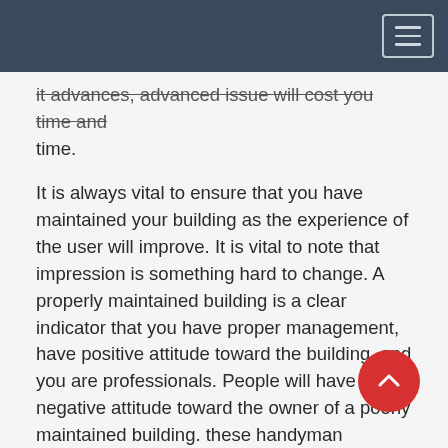it advances, advanced issue will cost you time and time.
It is always vital to ensure that you have maintained your building as the experience of the user will improve. It is vital to note that impression is something hard to change. A properly maintained building is a clear indicator that you have proper management, have positive attitude toward the building, and you are professionals. People will have a negative attitude toward the owner of a poorly maintained building. these handyman services will ensure that your building is appreciable by maintaining it properly.
Safety of the people and the animal should be given a lot of priority. It is vital to ensure that you